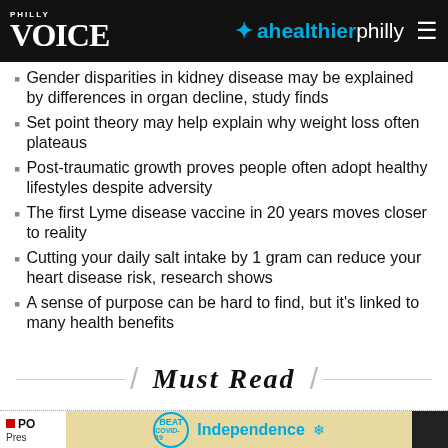PHILLY VOICE | ahealthierphilly
Gender disparities in kidney disease may be explained by differences in organ decline, study finds
Set point theory may help explain why weight loss often plateaus
Post-traumatic growth proves people often adopt healthy lifestyles despite adversity
The first Lyme disease vaccine in 20 years moves closer to reality
Cutting your daily salt intake by 1 gram can reduce your heart disease risk, research shows
A sense of purpose can be hard to find, but it's linked to many health benefits
Must Read
[Figure (other): Advertisement banner: BEAT COVID-19 / Independence Blue Cross logo]